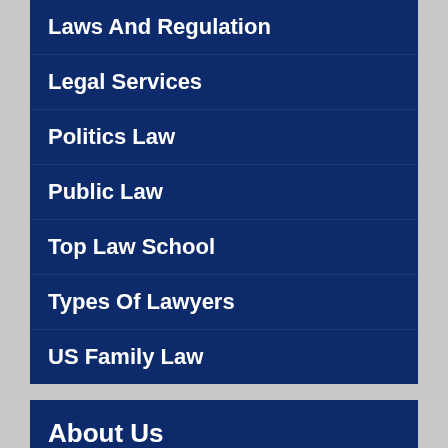Laws And Regulation
Legal Services
Politics Law
Public Law
Top Law School
Types Of Lawyers
US Family Law
About Us
Contact Us
Advertise Here